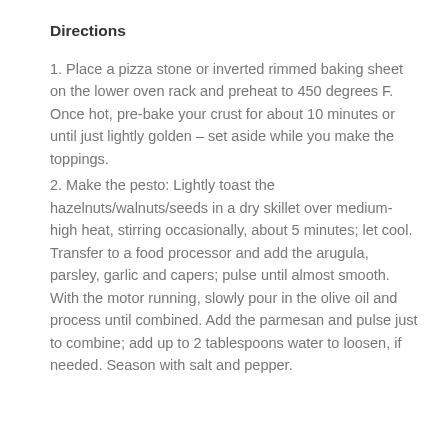Directions
1. Place a pizza stone or inverted rimmed baking sheet on the lower oven rack and preheat to 450 degrees F. Once hot, pre-bake your crust for about 10 minutes or until just lightly golden – set aside while you make the toppings.
2. Make the pesto: Lightly toast the hazelnuts/walnuts/seeds in a dry skillet over medium-high heat, stirring occasionally, about 5 minutes; let cool. Transfer to a food processor and add the arugula, parsley, garlic and capers; pulse until almost smooth. With the motor running, slowly pour in the olive oil and process until combined. Add the parmesan and pulse just to combine; add up to 2 tablespoons water to loosen, if needed. Season with salt and pepper.